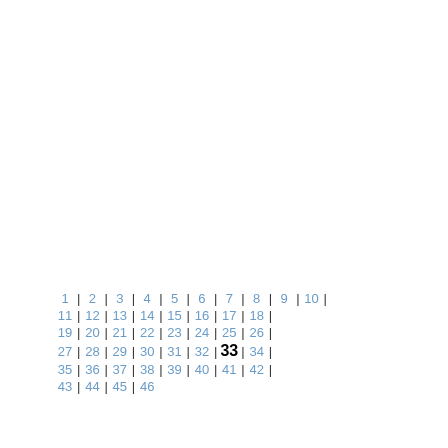1 | 2 | 3 | 4 | 5 | 6 | 7 | 8 | 9 | 10 | 11 | 12 | 13 | 14 | 15 | 16 | 17 | 18 | 19 | 20 | 21 | 22 | 23 | 24 | 25 | 26 | 27 | 28 | 29 | 30 | 31 | 32 | 33 | 34 | 35 | 36 | 37 | 38 | 39 | 40 | 41 | 42 | 43 | 44 | 45 | 46